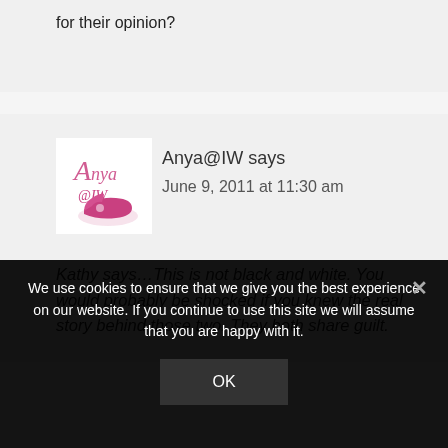for their opinion?
Anya@IW says
June 9, 2011 at 11:30 am
Kathy says…This is not black and white. You would probably be shocked if you knew the real story behind those two. They both share guilt.
We use cookies to ensure that we give you the best experience on our website. If you continue to use this site we will assume that you are happy with it.